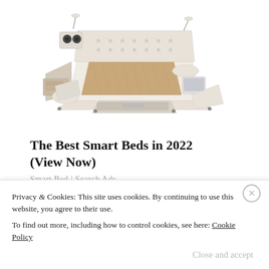[Figure (photo): A smart bed product photo showing a large modern bed with multiple built-in features including speakers, drawers, storage compartments, reading lamps, a massage chair extension, and shelving. The bed is upholstered in cream/beige leather with a wooden slatted sleeping surface.]
The Best Smart Beds in 2022 (View Now)
Smart Bed | Search Ads
Privacy & Cookies: This site uses cookies. By continuing to use this website, you agree to their use.
To find out more, including how to control cookies, see here: Cookie Policy